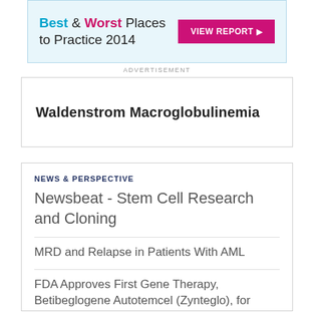[Figure (other): Advertisement banner: Best & Worst Places to Practice 2014 with VIEW REPORT button]
ADVERTISEMENT
Waldenstrom Macroglobulinemia
NEWS & PERSPECTIVE
Newsbeat - Stem Cell Research and Cloning
MRD and Relapse in Patients With AML
FDA Approves First Gene Therapy, Betibeglogene Autotemcel (Zynteglo), for Beta-Thalassemia